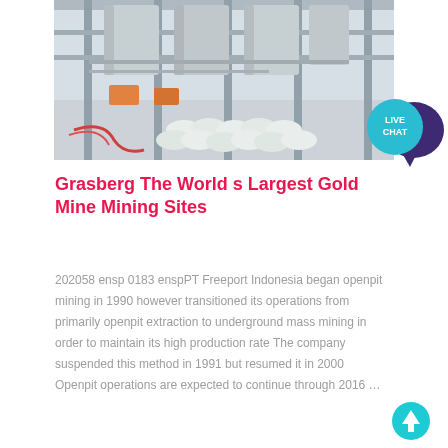[Figure (photo): Industrial mining facility interior showing conveyor systems, white powder bags stacked on floor, orange and gray machinery, metal frame structure overhead]
[Figure (infographic): Live Chat speech bubble icon — cyan circle with LIVE CHAT text, dark purple speech bubble behind]
Grasberg The World s Largest Gold Mine Mining Sites
202058 ensp 0183 enspPT Freeport Indonesia began openpit mining in 1990 however transitioned its operations from primarily openpit extraction to underground mass mining in order to maintain its high production rate The company suspended this method in 1991 but resumed it in 2000 Openpit operations are expected to continue through 2016 ...
[Figure (other): Upward-pointing arrow icon in cyan/teal color]